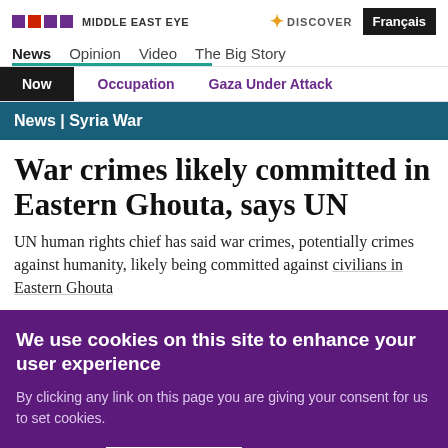MIDDLE EAST EYE | DISCOVER | Français
News | Opinion | Video | The Big Story
Now | Occupation | Gaza Under Attack
News | Syria War
War crimes likely committed in Eastern Ghouta, says UN
UN human rights chief has said war crimes, potentially crimes against humanity, likely being committed against civilians in Eastern Ghouta
We use cookies on this site to enhance your user experience
By clicking any link on this page you are giving your consent for us to set cookies.
No, thanks  OK, I agree